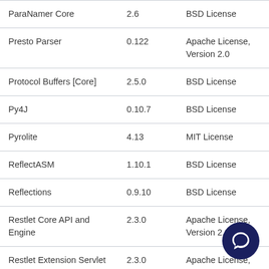| ParaNamer Core | 2.6 | BSD License |
| Presto Parser | 0.122 | Apache License, Version 2.0 |
| Protocol Buffers [Core] | 2.5.0 | BSD License |
| Py4J | 0.10.7 | BSD License |
| Pyrolite | 4.13 | MIT License |
| ReflectASM | 1.10.1 | BSD License |
| Reflections | 0.9.10 | BSD License |
| Restlet Core API and Engine | 2.3.0 | Apache License, Version 2.0 |
| Restlet Extension Servlet | 2.3.0 | Apache License, Version 2.0 |